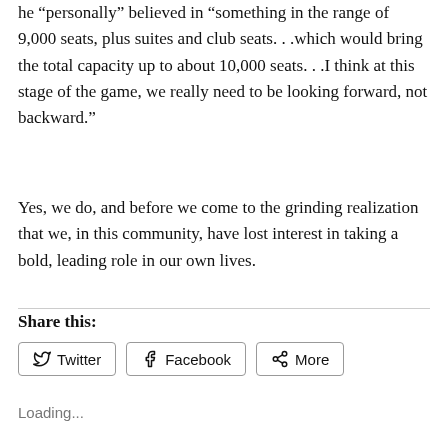he “personally” believed in “something in the range of 9,000 seats, plus suites and club seats. . .which would bring the total capacity up to about 10,000 seats. . .I think at this stage of the game, we really need to be looking forward, not backward.”
Yes, we do, and before we come to the grinding realization that we, in this community, have lost interest in taking a bold, leading role in our own lives.
Share this:
Twitter  Facebook  More
Loading...